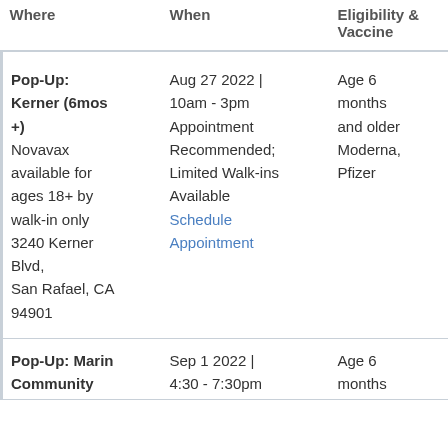| Where | When | Eligibility & Vaccine |
| --- | --- | --- |
| Pop-Up: Kerner (6mos +)
Novavax available for ages 18+ by walk-in only
3240 Kerner Blvd, San Rafael, CA 94901 | Aug 27 2022 | 10am - 3pm
Appointment Recommended; Limited Walk-ins Available
Schedule Appointment | Age 6 months and older
Moderna, Pfizer |
| Pop-Up: Marin Community | Sep 1 2022 | 4:30 - 7:30pm | Age 6 months |